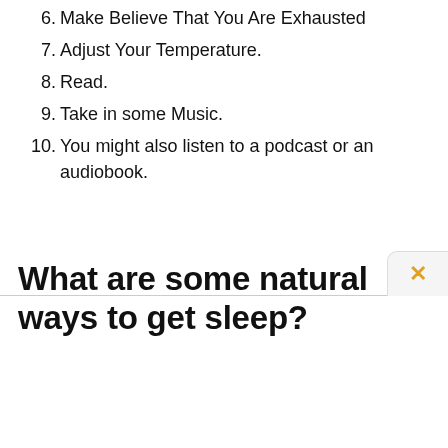6. Make Believe That You Are Exhausted
7. Adjust Your Temperature.
8. Read.
9. Take in some Music.
10. You might also listen to a podcast or an audiobook.
What are some natural ways to get sleep?